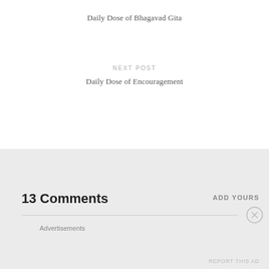Daily Dose of Bhagavad Gita
NEXT POST
Daily Dose of Encouragement
13 Comments
ADD YOURS
Advertisements
REPORT THIS AD